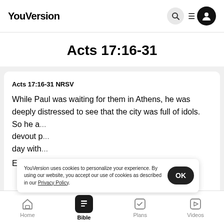YouVersion
Acts 17:16-31
Acts 17:16-31 NRSV
While Paul was waiting for them in Athens, he was deeply distressed to see that the city was full of idols. So he a... devout p... day with... Epicurean and Stoic philosophers debated with him.
YouVersion uses cookies to personalize your experience. By using our website, you accept our use of cookies as described in our Privacy Policy.
Home   Bible   Plans   Videos